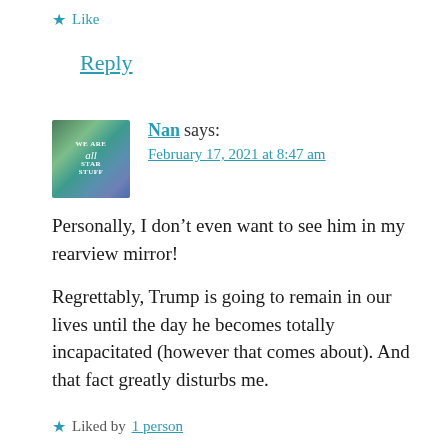★ Like
Reply
[Figure (illustration): Avatar image with teal/green galaxy background showing text 'WE ARE all STAR STUFF']
Nan says:
February 17, 2021 at 8:47 am
Personally, I don't even want to see him in my rearview mirror!
Regrettably, Trump is going to remain in our lives until the day he becomes totally incapacitated (however that comes about). And that fact greatly disturbs me.
★ Liked by 1 person